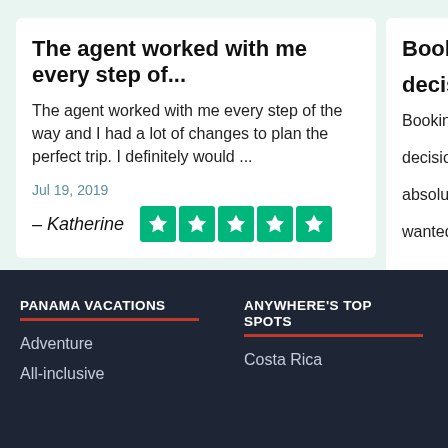The agent worked with me every step of... The agent worked with me every step of the way and I had a lot of changes to plan the perfect trip. I definitely would ... Jul 19, 2019 – Katherine ★★★★★
Book w... decisio... Booking ... decision ... absolutel... wanted, ... Apr 26, 201... – Stepha...
PANAMA VACATIONS
Adventure
All-inclusive
ANYWHERE'S TOP SPOTS
Costa Rica